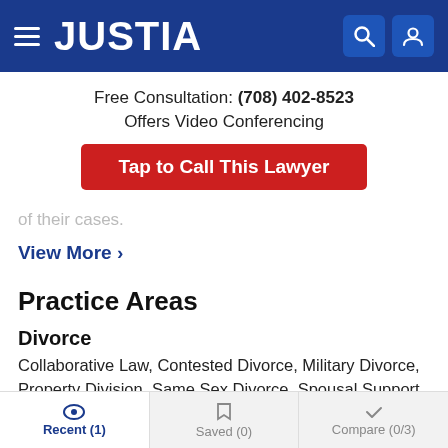JUSTIA
Free Consultation: (708) 402-8523
Offers Video Conferencing
Tap to Call This Lawyer
of their cases.
View More ›
Practice Areas
Divorce
Collaborative Law, Contested Divorce, Military Divorce, Property Division, Same Sex Divorce, Spousal Support & Alimony,
Recent (1)   Saved (0)   Compare (0/3)